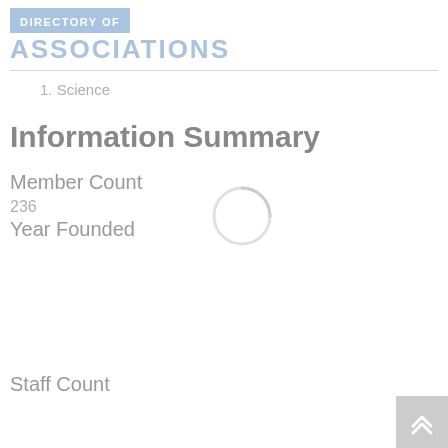DIRECTORY OF
ASSOCIATIONS
1. Science
Information Summary
Member Count
236
Year Founded
Staff Count